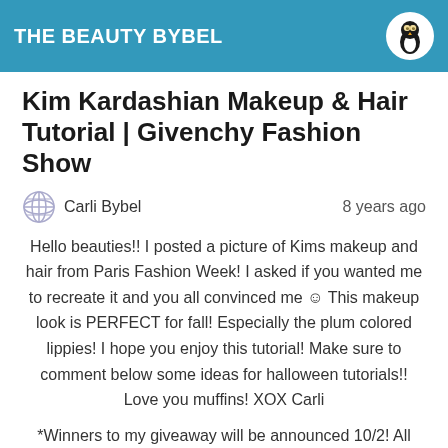THE BEAUTY BYBEL
Kim Kardashian Makeup & Hair Tutorial | Givenchy Fashion Show
Carli Bybel   8 years ago
Hello beauties!! I posted a picture of Kims makeup and hair from Paris Fashion Week! I asked if you wanted me to recreate it and you all convinced me ☺ This makeup look is PERFECT for fall! Especially the plum colored lippies! I hope you enjoy this tutorial! Make sure to comment below some ideas for halloween tutorials!! Love you muffins! XOX Carli
*Winners to my giveaway will be announced 10/2! All winners will be listed in the giveaway video description bar!